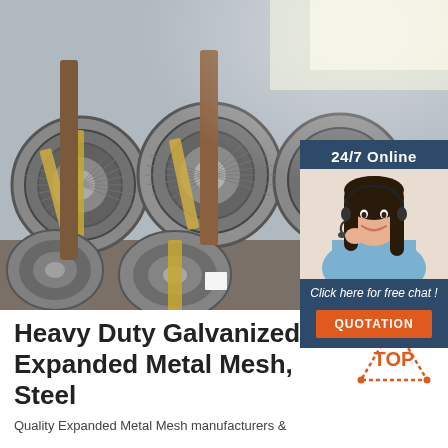[Figure (photo): Warehouse storing large coils of galvanized steel wire rods bundled with yellow strapping tape, stacked in rows]
[Figure (photo): Customer service agent woman smiling wearing headset, overlaid with dark blue sidebar showing 24/7 Online badge, Click here for free chat text, and orange QUOTATION button]
Heavy Duty Galvanized Expanded Metal Mesh, Steel
Quality Expanded Metal Mesh manufacturers &